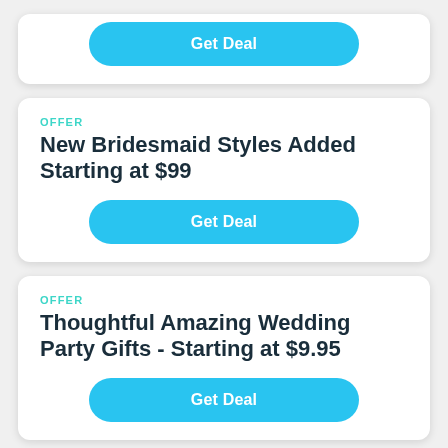Get Deal
OFFER
New Bridesmaid Styles Added Starting at $99
Get Deal
OFFER
Thoughtful Amazing Wedding Party Gifts - Starting at $9.95
Get Deal
OFFER